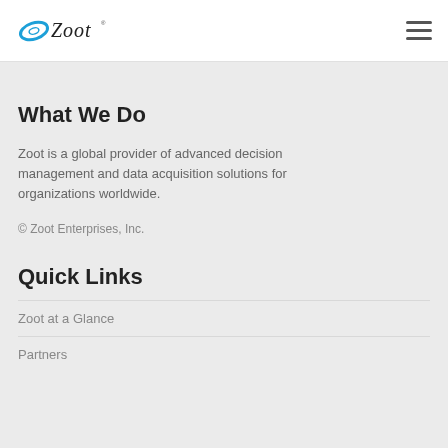Zoot
What We Do
Zoot is a global provider of advanced decision management and data acquisition solutions for organizations worldwide.
© Zoot Enterprises, Inc.
Quick Links
Zoot at a Glance
Partners